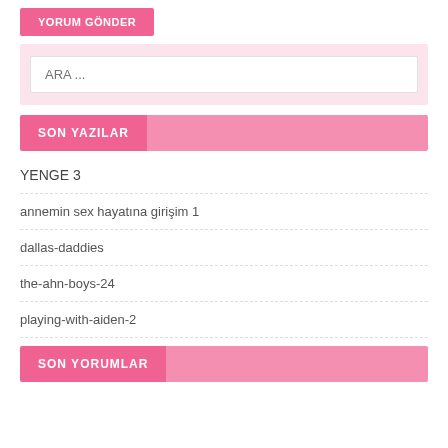YORUM GÖNDER
ARA ...
SON YAZILAR
YENGE 3
annemin sex hayatına girişim 1
dallas-daddies
the-ahn-boys-24
playing-with-aiden-2
SON YORUMLAR